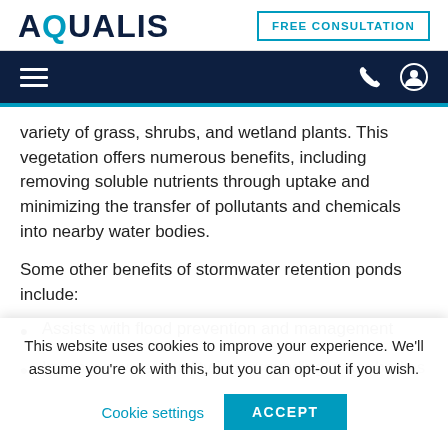AQUALIS | FREE CONSULTATION
variety of grass, shrubs, and wetland plants. This vegetation offers numerous benefits, including removing soluble nutrients through uptake and minimizing the transfer of pollutants and chemicals into nearby water bodies.
Some other benefits of stormwater retention ponds include:
Assists with flood prevention and management
Improves water quality in surrounding water bodies
This website uses cookies to improve your experience. We'll assume you're ok with this, but you can opt-out if you wish.